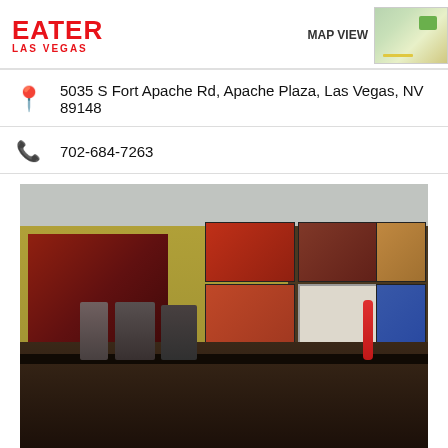EATER LAS VEGAS
MAP VIEW
5035 S Fort Apache Rd, Apache Plaza, Las Vegas, NV 89148
702-684-7263
[Figure (photo): Interior of a fast-food restaurant showing menu boards on the wall, a yellow-painted wall with decorative poster, bright window, and counter with appliances and equipment.]